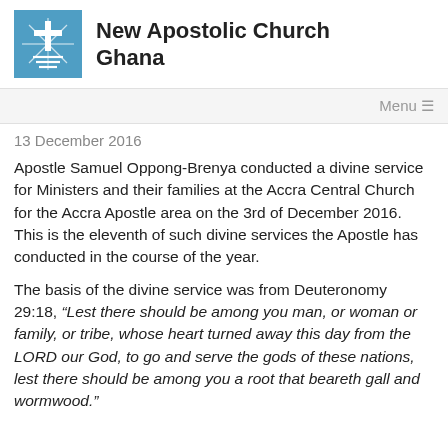[Figure (logo): New Apostolic Church Ghana logo — blue square with white cross and radiating lines, horizontal lines below]
New Apostolic Church Ghana
Menu
13 December 2016
Apostle Samuel Oppong-Brenya conducted a divine service for Ministers and their families at the Accra Central Church for the Accra Apostle area on the 3rd of December 2016. This is the eleventh of such divine services the Apostle has conducted in the course of the year.
The basis of the divine service was from Deuteronomy 29:18, “Lest there should be among you man, or woman or family, or tribe, whose heart turned away this day from the LORD our God, to go and serve the gods of these nations, lest there should be among you a root that beareth gall and wormwood.”